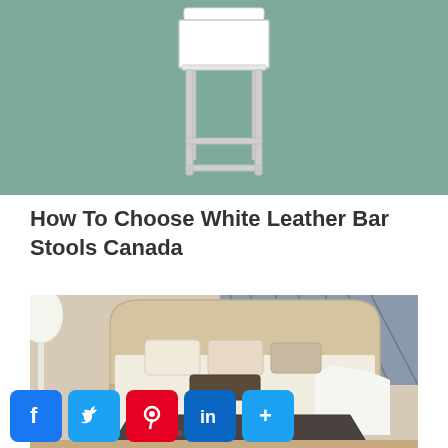[Figure (photo): White leather bar stool with chrome frame on teal/sage green background]
How To Choose White Leather Bar Stools Canada
[Figure (photo): Bedroom interior with cream upholstered bed, decorative pillows, white floor lamp, and tufted ottoman]
[Figure (infographic): Social share bar with Facebook, Twitter, Pinterest, LinkedIn, and More buttons]